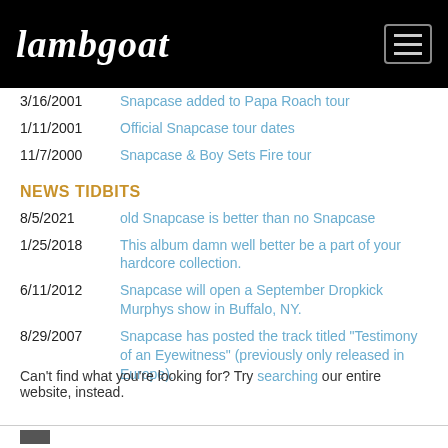Lambgoat
3/16/2001 — Snapcase added to Papa Roach tour
1/11/2001 — Official Snapcase tour dates
11/7/2000 — Snapcase & Boy Sets Fire tour
NEWS TIDBITS
8/5/2021 — old Snapcase is better than no Snapcase
1/25/2018 — This album damn well better be a part of your hardcore collection.
6/11/2012 — Snapcase will open a September Dropkick Murphys show in Buffalo, NY.
8/29/2007 — Snapcase has posted the track titled "Testimony of an Eyewitness" (previously only released in Europe).
Can't find what you're looking for? Try searching our entire website, instead.